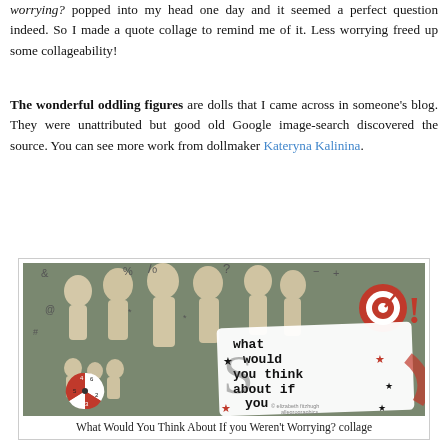worrying? popped into my head one day and it seemed a perfect question indeed. So I made a quote collage to remind me of it. Less worrying freed up some collageability!
The wonderful oddling figures are dolls that I came across in someone's blog. They were unattributed but good old Google image-search discovered the source. You can see more work from dollmaker Kateryna Kalinina.
[Figure (photo): A photo collage showing multiple pale, bald articulated doll figures (oddlings) grouped together, with a white card overlay displaying the text 'what would you think about if you weren't worrying?' in bold typewriter font with black star decorations, a red and white target/bullseye on the upper right, and a red spinner wheel on the lower left. Various punctuation marks are scattered in the background.]
What Would You Think About If you Weren't Worrying? collage